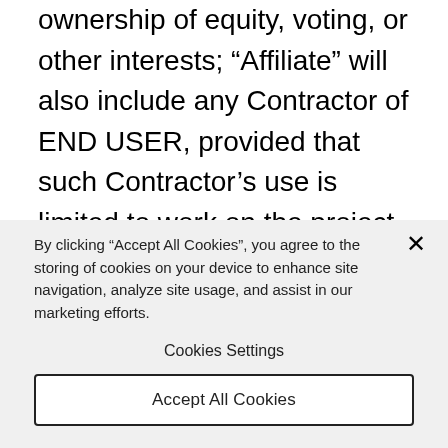ownership of equity, voting, or other interests; “Affiliate” will also include any Contractor of END USER, provided that such Contractor’s use is limited to work on the project for which Contractor is hired by END USER.
2.3.2 END-USER is granted a single seat
By clicking “Accept All Cookies”, you agree to the storing of cookies on your device to enhance site navigation, analyze site usage, and assist in our marketing efforts.
Cookies Settings
Accept All Cookies